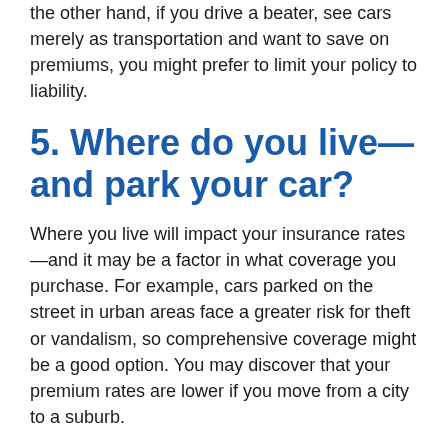the other hand, if you drive a beater, see cars merely as transportation and want to save on premiums, you might prefer to limit your policy to liability.
5. Where do you live—and park your car?
Where you live will impact your insurance rates—and it may be a factor in what coverage you purchase. For example, cars parked on the street in urban areas face a greater risk for theft or vandalism, so comprehensive coverage might be a good option. You may discover that your premium rates are lower if you move from a city to a suburb.
6. Who else will be driving